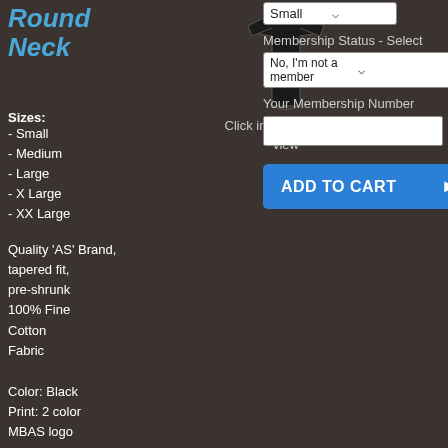Round Neck
Sizes:
- Small
- Medium
- Large
- X Large
- XX Large
Quality 'AS' Brand, tapered fit, pre-shrunk 100% Fine Cotton Fabric
Color: Black
Print: 2 color
MBAS logo
[Figure (photo): Black women's round neck t-shirt product photo]
Click image for larger view
Small
Membership Status - Select
No, I'm not a member
Your Membership Number
ADD TO CART